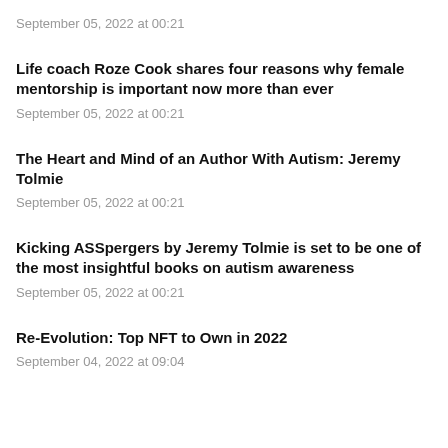September 05, 2022 at 00:21
Life coach Roze Cook shares four reasons why female mentorship is important now more than ever
September 05, 2022 at 00:21
The Heart and Mind of an Author With Autism: Jeremy Tolmie
September 05, 2022 at 00:21
Kicking ASSpergers by Jeremy Tolmie is set to be one of the most insightful books on autism awareness
September 05, 2022 at 00:21
Re-Evolution: Top NFT to Own in 2022
September 04, 2022 at 09:04